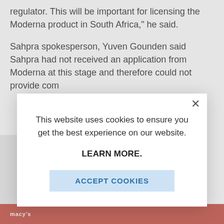regulator. This will be important for licensing the Moderna product in South Africa," he said.
Sahpra spokesperson, Yuven Gounden said Sahpra had not received an application from Moderna at this stage and therefore could not provide com...
[Figure (screenshot): Cookie consent modal dialog overlaying a news article page. The modal contains a close button (×), text reading 'This website uses cookies to ensure you get the best experience on our website.', a bold link 'LEARN MORE.', and a light blue button 'ACCEPT COOKIES'. The background shows partially obscured article text and a red banner strip at the bottom.]